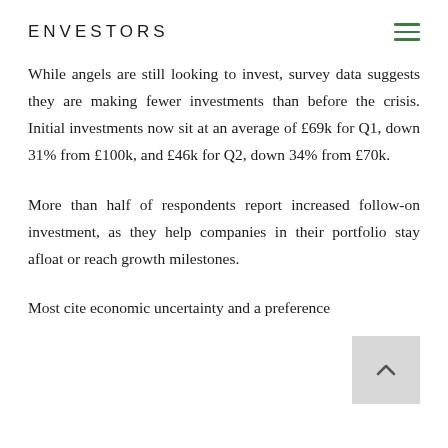ENVESTORS
While angels are still looking to invest, survey data suggests they are making fewer investments than before the crisis. Initial investments now sit at an average of £69k for Q1, down 31% from £100k, and £46k for Q2, down 34% from £70k.
More than half of respondents report increased follow-on investment, as they help companies in their portfolio stay afloat or reach growth milestones.
Most cite economic uncertainty and a preference